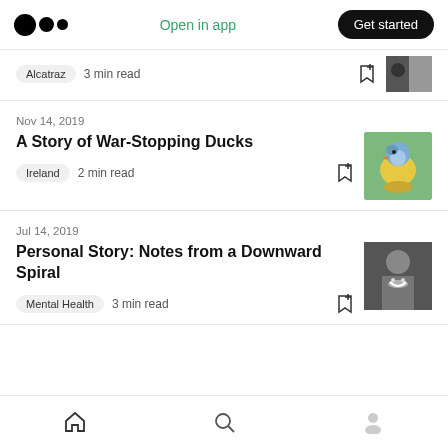Medium logo | Open in app | Get started
Alcatraz  3 min read
Nov 14, 2019
A Story of War-Stopping Ducks
Ireland  2 min read
Jul 14, 2019
Personal Story: Notes from a Downward Spiral
Mental Health  3 min read
Home | Search | Profile